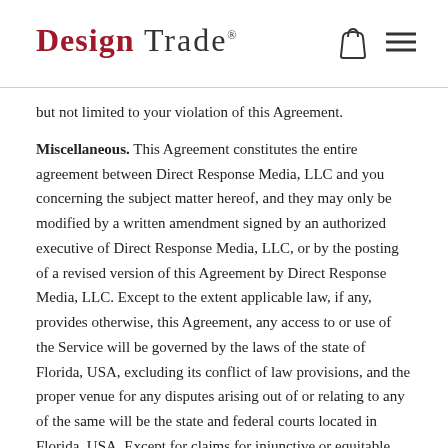DESIGN TRADE
but not limited to your violation of this Agreement.
Miscellaneous. This Agreement constitutes the entire agreement between Direct Response Media, LLC and you concerning the subject matter hereof, and they may only be modified by a written amendment signed by an authorized executive of Direct Response Media, LLC, or by the posting of a revised version of this Agreement by Direct Response Media, LLC. Except to the extent applicable law, if any, provides otherwise, this Agreement, any access to or use of the Service will be governed by the laws of the state of Florida, USA, excluding its conflict of law provisions, and the proper venue for any disputes arising out of or relating to any of the same will be the state and federal courts located in Florida, USA. Except for claims for injunctive or equitable relief or claims regarding intellectual property rights (which may be brought in